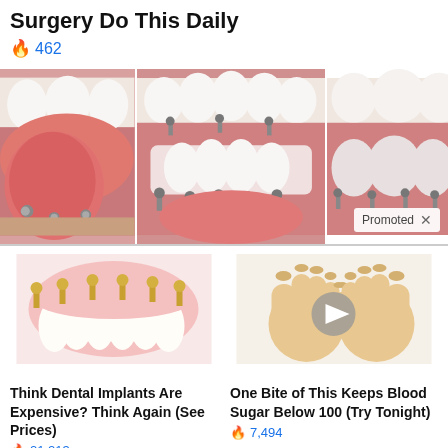Surgery Do This Daily
🔥 462
[Figure (photo): Three dental implant procedure images showing mouth with implant posts and teeth]
Promoted ×
[Figure (illustration): Illustration of dental implants with gold screws and white teeth]
Think Dental Implants Are Expensive? Think Again (See Prices)
🔥 21,213
[Figure (illustration): Illustration of two feet with toenails and a play button overlay]
One Bite of This Keeps Blood Sugar Below 100 (Try Tonight)
🔥 7,494